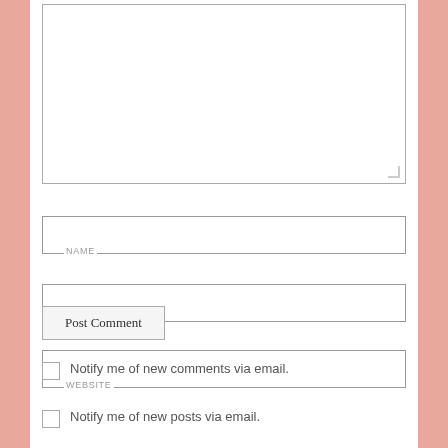[Figure (screenshot): Comment form textarea (empty text input area)]
NAME
EMAIL
WEBSITE
Post Comment
Notify me of new comments via email.
Notify me of new posts via email.